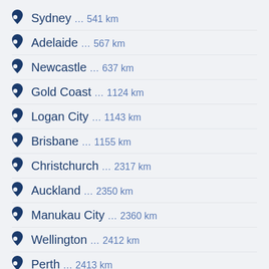Sydney … 541 km
Adelaide … 567 km
Newcastle … 637 km
Gold Coast … 1124 km
Logan City … 1143 km
Brisbane … 1155 km
Christchurch … 2317 km
Auckland … 2350 km
Manukau City … 2360 km
Wellington … 2412 km
Perth … 2413 km
Port Moresby … 2963 km
Kupang … 3370 km